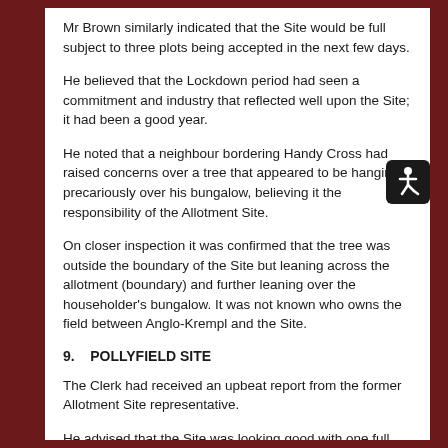Mr Brown similarly indicated that the Site would be full subject to three plots being accepted in the next few days.
He believed that the Lockdown period had seen a commitment and industry that reflected well upon the Site; it had been a good year.
He noted that a neighbour bordering Handy Cross had raised concerns over a tree that appeared to be hanging, precariously over his bungalow, believing it the responsibility of the Allotment Site.
On closer inspection it was confirmed that the tree was outside the boundary of the Site but leaning across the allotment (boundary) and further leaning over the householder's bungalow. It was not known who owns the field between Anglo-Krempl and the Site.
9.    POLLYFIELD SITE
The Clerk had received an upbeat report from the former Allotment Site representative.
He advised that the Site was looking good with one full plot